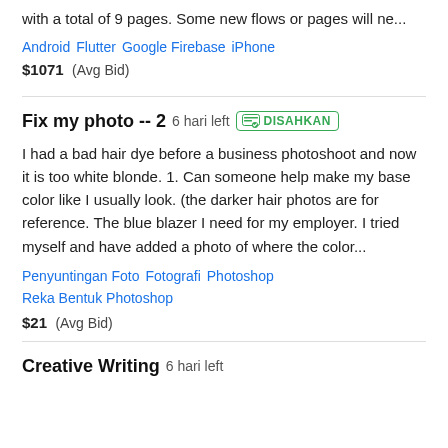with a total of 9 pages. Some new flows or pages will ne...
Android   Flutter   Google Firebase   iPhone
$1071  (Avg Bid)
Fix my photo -- 2   6 hari left   DISAHKAN
I had a bad hair dye before a business photoshoot and now it is too white blonde. 1. Can someone help make my base color like I usually look. (the darker hair photos are for reference. The blue blazer I need for my employer. I tried myself and have added a photo of where the color...
Penyuntingan Foto   Fotografi   Photoshop   Reka Bentuk Photoshop
$21  (Avg Bid)
Creative Writing   6 hari left